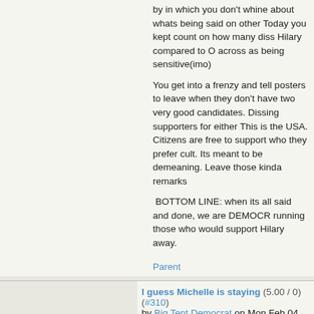by in which you don't whine about whats being said on other Today you kept count on how many diss Hilary compared to O across as being sensitive(imo)

You get into a frenzy and tell posters to leave when they don't have two very good candidates. Dissing supporters for either This is the USA. Citizens are free to support who they prefer cult. Its meant to be demeaning. Leave those kinda remarks

BOTTOM LINE: when its all said and done, we are DEMOCR running those who would support Hilary away.
Parent
I guess Michelle is staying (5.00 / 0) (#310)
by Big Tent Democrat on Mon Feb 04, 2008 at 07:00:41 PM
given the uncertainty of her support for Hillary.
Parent
C'mon (none / 0) (#311)
by Stellaaa on Mon Feb 04, 2008 at 07:17:39 PM EST
Can't we have a small corner that we dominate?
Parent
Michelle Obama (none / 0) (#299)